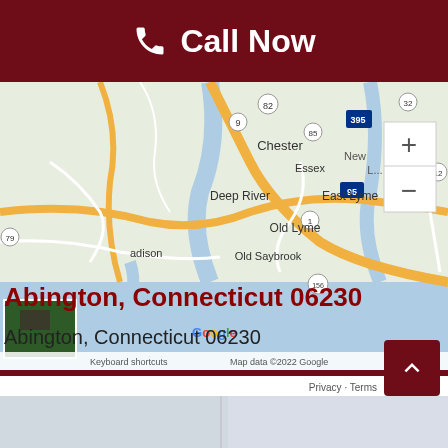Call Now
[Figure (map): Google Map showing coastal Connecticut area including Chester, Deep River, Essex, Old Lyme, Old Saybrook, East Lyme, New London, Madison area. Shows route numbers 9, 82, 79, 85, 395, 95, 1, 32, 12, 156. Map data ©2022 Google.]
Abington, Connecticut 06230
Abington, Connecticut 06230